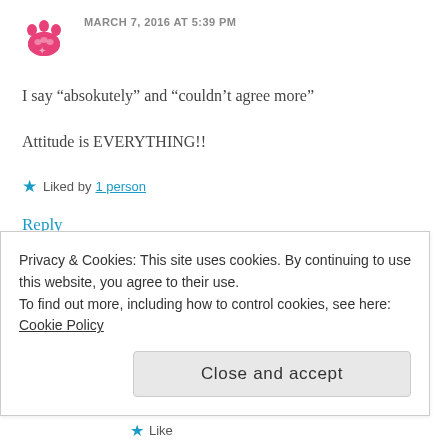[Figure (illustration): Pink paw print avatar icon]
MARCH 7, 2016 AT 5:39 PM
I say “absokutely” and “couldn’t agree more”
Attitude is EVERYTHING!!
★ Liked by 1 person
Reply
[Figure (illustration): Green diamond pattern avatar for litetherapy]
litetherapy
MARCH 8, 2016 AT 5:31 AM
Privacy & Cookies: This site uses cookies. By continuing to use this website, you agree to their use.
To find out more, including how to control cookies, see here: Cookie Policy
Close and accept
★ Like